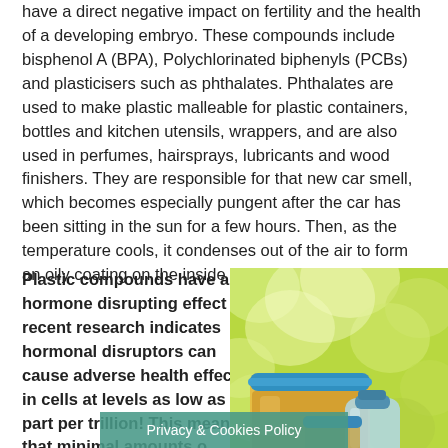have a direct negative impact on fertility and the health of a developing embryo. These compounds include bisphenol A (BPA), Polychlorinated biphenyls (PCBs) and plasticisers such as phthalates. Phthalates are used to make plastic malleable for plastic containers, bottles and kitchen utensils, wrappers, and are also used in perfumes, hairsprays, lubricants and wood finishers. They are responsible for that new car smell, which becomes especially pungent after the car has been sitting in the sun for a few hours. Then, as the temperature cools, it condenses out of the air to form an oily coating on the inside of the windshield.
Plastic compounds have a hormone disrupting effect and recent research indicates hormonal disruptors can cause adverse health effects in cells at levels as low as one part per trillion! This means that minimal amounts o...
[Figure (photo): Photo of plastic food containers and bottles with blue lids against a blurred green/yellow leafy background]
Privacy & Cookies Policy